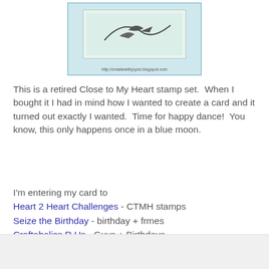[Figure (photo): Photo of a handmade card with a light blue border, showing a stamped image inside. URL 'http://createwithjoyce.blogspot.com' printed at the bottom of the card.]
This is a retired Close to My Heart stamp set.  When I bought it I had in mind how I wanted to create a card and it turned out exactly I wanted.  Time for happy dance!  You know, this only happens once in a blue moon.
I'm entering my card to
Heart 2 Heart Challenges - CTMH stamps
Seize the Birthday - birthday + frmes
Craftaholics R Us - Guys + Birthdays
Thanks for stopping by and have a great weekend!
Joyce at 10:05 AM   5 comments:   Share